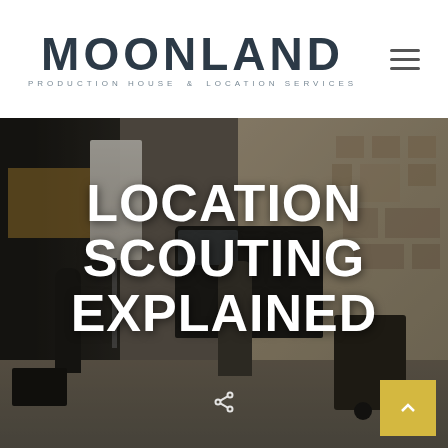[Figure (logo): Moonland logo with text 'MOONLAND' in large bold letters and subtitle 'PRODUCTION HOUSE AND LOCATION SERVICES']
[Figure (photo): Film crew on location on a city street, with a softbox light, black Mercedes van, people loading/unloading equipment on a cart, dark modern building on left and beige textured wall on right. Text overlay reads 'LOCATION SCOUTING EXPLAINED'. Share icon and yellow arrow button visible at bottom.]